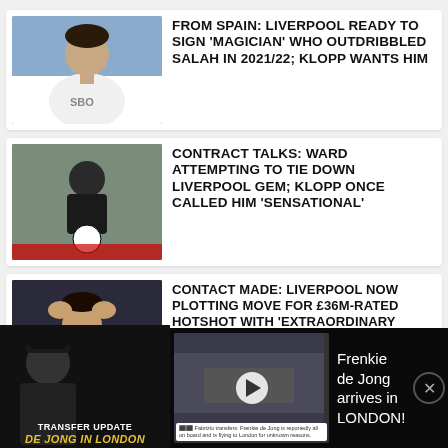[Figure (photo): Football player in white Leeds United kit with SBO sponsor, looking to the side]
FROM SPAIN: LIVERPOOL READY TO SIGN 'MAGICIAN' WHO OUTDRIBBLED SALAH IN 2021/22; KLOPP WANTS HIM
[Figure (photo): Football player in dark training kit holding a Champions League ball]
CONTRACT TALKS: WARD ATTEMPTING TO TIE DOWN LIVERPOOL GEM; KLOPP ONCE CALLED HIM 'SENSATIONAL'
[Figure (photo): Football player with Real Madrid kit holding his head in his hands]
CONTACT MADE: LIVERPOOL NOW PLOTTING MOVE FOR £36M-RATED HOTSHOT WITH 'EXTRAORDINARY QUALITY'
[Figure (screenshot): Video banner: Transfer Update - De Jong in London. Frenkie de Jong arrives in LONDON!]